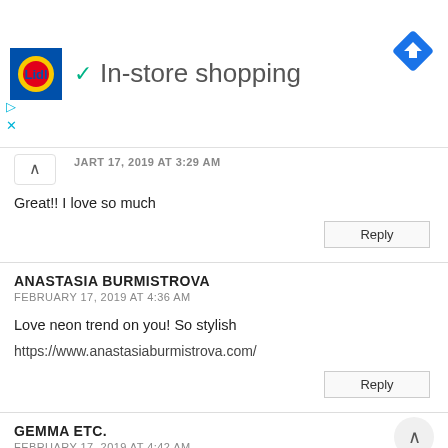[Figure (screenshot): Lidl store advertisement banner showing Lidl logo, checkmark, 'In-store shopping' text, and a blue navigation/directions diamond icon. Two small ad control buttons (play and close) appear below the logo.]
JART 17, 2019 AT 3:29 AM
Great!! I love so much
Reply
ANASTASIA BURMISTROVA
FEBRUARY 17, 2019 AT 4:36 AM
Love neon trend on you! So stylish
https://www.anastasiaburmistrova.com/
Reply
GEMMA ETC.
FEBRUARY 17, 2019 AT 4:42 AM
Such a cute outfit! I'm loving the whole neon trend right now xx